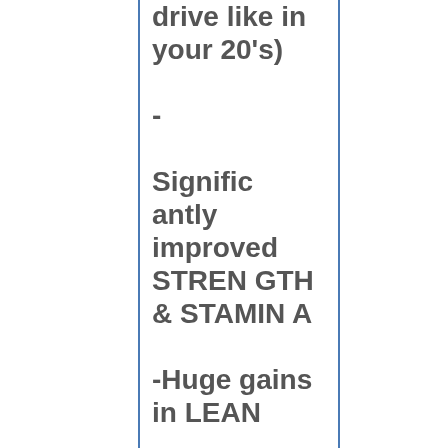drive like in your 20's)

- Significantly improved STRENGTH & STAMINA

-Huge gains in LEAN